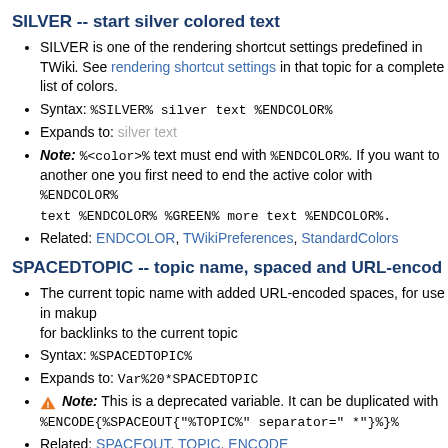SILVER -- start silver colored text
SILVER is one of the rendering shortcut settings predefined in TWiki. See rendering shortcut settings in that topic for a complete list of colors.
Syntax: %SILVER% silver text %ENDCOLOR%
Expands to: silver text
Note: %<color>% text must end with %ENDCOLOR%. If you want to switch from one color to another one you first need to end the active color with %ENDCOLOR%, e.g. write %RED% some text %ENDCOLOR% %GREEN% more text %ENDCOLOR%.
Related: ENDCOLOR, TWikiPreferences, StandardColors
SPACEDTOPIC -- topic name, spaced and URL-encoded
The current topic name with added URL-encoded spaces, for use in markup for backlinks to the current topic
Syntax: %SPACEDTOPIC%
Expands to: Var%20*SPACEDTOPIC
Note: This is a deprecated variable. It can be duplicated with %ENCODE{%SPACEOUT{"%TOPIC%" separator=" *"}%}%
Related: SPACEOUT, TOPIC, ENCODE
SPACEOUT{"string"} -- renders string with spaces inserted in appropriate places